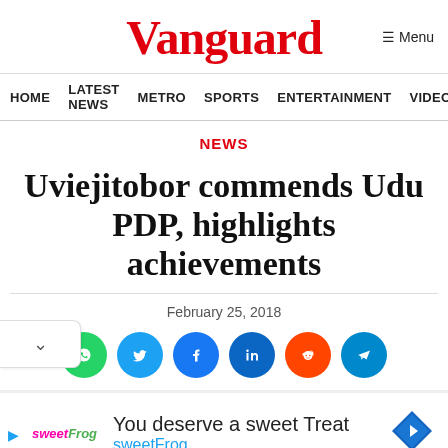Vanguard
Menu
HOME  LATEST NEWS  METRO  SPORTS  ENTERTAINMENT  VIDEOS
NEWS
Uviejitobor commends Udu PDP, highlights achievements
February 25, 2018
[Figure (infographic): Social share buttons: WhatsApp, Twitter, Facebook, LinkedIn, Reddit, Telegram]
[Figure (infographic): Advertisement: sweetFrog - You deserve a sweet Treat]